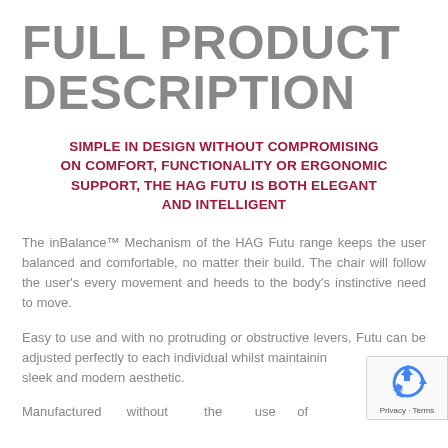FULL PRODUCT DESCRIPTION
SIMPLE IN DESIGN WITHOUT COMPROMISING ON COMFORT, FUNCTIONALITY OR ERGONOMIC SUPPORT, THE HAG FUTU IS BOTH ELEGANT AND INTELLIGENT
The inBalance™ Mechanism of the HAG Futu range keeps the user balanced and comfortable, no matter their build. The chair will follow the user's every movement and heeds to the body's instinctive need to move.
Easy to use and with no protruding or obstructive levers, Futu can be adjusted perfectly to each individual whilst maintaining a sleek and modern aesthetic.
Manufactured without the use of